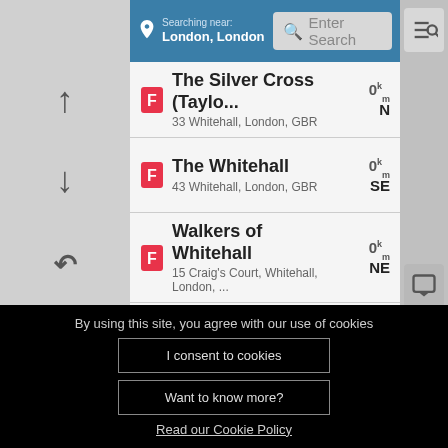[Figure (screenshot): Mobile app screenshot showing a Foursquare-style venue search near London, Whitehall. Search bar at top with 'Searching near: London, London' label and 'Enter Search' input. Three venue listings: (1) The Silver Cross (Taylo...) at 33 Whitehall, London, GBR, 0km N; (2) The Whitehall at 43 Whitehall, London, GBR, 0km SE; (3) Walkers of Whitehall at 15 Craig's Court, Whitehall, London, ..., 0km NE. A partial fourth item is visible.]
By using this site, you agree with our use of cookies
I consent to cookies
Want to know more?
Read our Cookie Policy